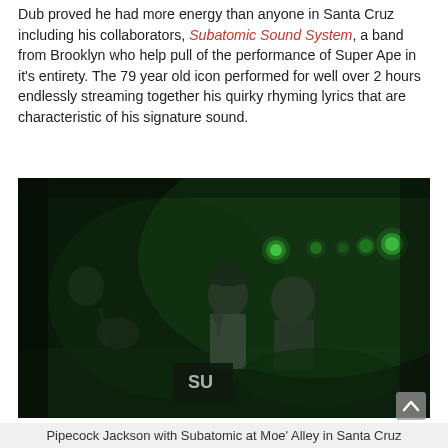Dub proved he had more energy than anyone in Santa Cruz including his collaborators, Subatomic Sound System, a band from Brooklyn who help pull of the performance of Super Ape in it's entirety. The 79 year old icon performed for well over 2 hours endlessly streaming together his quirky rhyming lyrics that are characteristic of his signature sound.
[Figure (photo): Concert photo taken in dark green-tinted lighting showing performers on stage. A central figure wearing a hat and white outfit holds a microphone, another person stands to the right near a microphone stand. A guitarist is visible on the left. Green stage lights are visible overhead. A drum kit with 'SU' lettering visible in the background.]
Pipecock Jackson with Subatomic at Moe' Alley in Santa Cruz